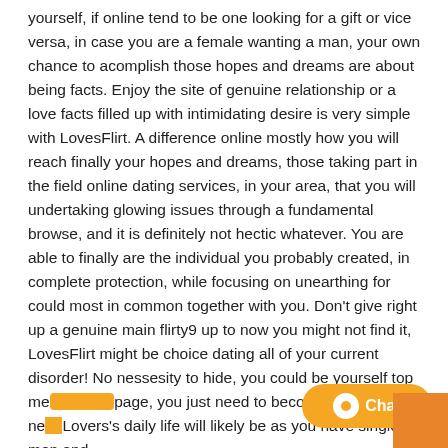yourself, if online tend to be one looking for a gift or vice versa, in case you are a female wanting a man, your own chance to acomplish those hopes and dreams are about being facts. Enjoy the site of genuine relationship or a love facts filled up with intimidating desire is very simple with LovesFlirt. A difference online mostly how you will reach finally your hopes and dreams, those taking part in the field online dating services, in your area, that you will undertaking glowing issues through a fundamental browse, and it is definitely not hectic whatever. You are able to finally are the individual you probably created, in complete protection, while focusing on unearthing for could most in common together with you. Don't give right up a genuine main flirty9 up to now you might not find it, LovesFlirt might be choice dating all of your current disorder! No nessesity to hide, you could be yourself top me... page, you just need to become a part of the ne... Lovers's daily life will likely be as you have single men and
[Figure (other): Orange chat widget button with speech bubble icon and 'Chat' text, positioned at bottom right]